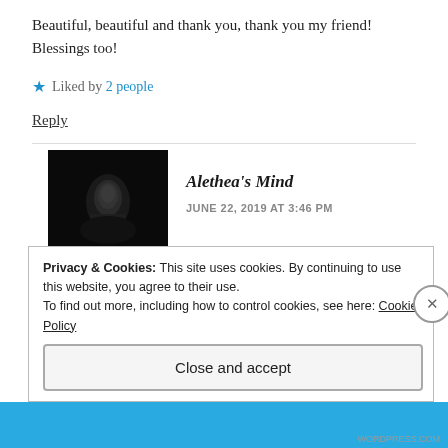Beautiful, beautiful and thank you, thank you my friend!
Blessings too!
★ Liked by 2 people
Reply
Alethea's Mind
JUNE 22, 2019 AT 3:46 PM
Bless you, Maxine. Thank God who sits on our boat 😊
Privacy & Cookies: This site uses cookies. By continuing to use this website, you agree to their use.
To find out more, including how to control cookies, see here: Cookie Policy
Close and accept